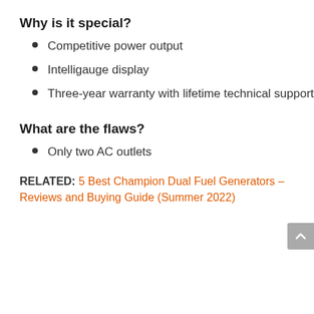Why is it special?
Competitive power output
Intelligauge display
Three-year warranty with lifetime technical support
What are the flaws?
Only two AC outlets
RELATED: 5 Best Champion Dual Fuel Generators – Reviews and Buying Guide (Summer 2022)